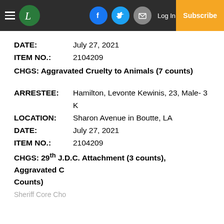Navigation bar with logo, social icons (Facebook, Twitter, Mail), Log In, Subscribe
DATE: July 27, 2021
ITEM NO.: 2104209
CHGS: Aggravated Cruelty to Animals (7 counts)
ARRESTEE: Hamilton, Levonte Kewinis, 23, Male- 3 K
LOCATION: Sharon Avenue in Boutte, LA
DATE: July 27, 2021
ITEM NO.: 2104209
CHGS: 29th J.D.C. Attachment (3 counts), Aggravated C Counts)
Sheriff Core Cho...